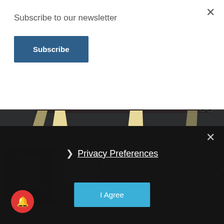Subscribe to our newsletter
Subscribe
[Figure (photo): Close-up photo of the legs and seat of a mid-century style chair with light natural wood tapered legs, dark textured upholstered seat, and decorative nail-head trim on the right side, against a dark charcoal wall and light grey concrete floor.]
Privacy Preferences
I Agree